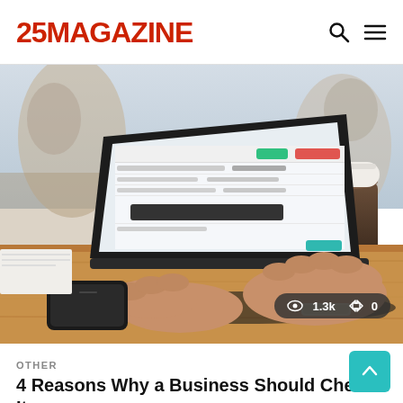25MAGAZINE
[Figure (photo): Person typing on a laptop at a wooden desk in a cafe/office setting, with a smartphone and coffee cup nearby. The laptop screen shows a spreadsheet or data management interface.]
OTHER
4 Reasons Why a Business Should Check Its